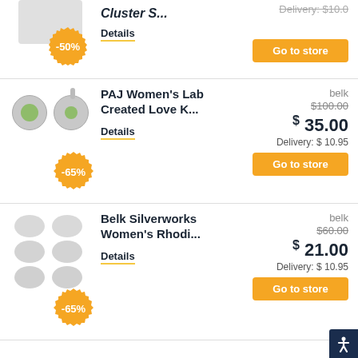[Figure (photo): Partial view of jewelry product with -50% orange badge, top of page cut off]
Cluster S...
Details
Go to store
[Figure (photo): PAJ Women's Lab Created Love Knot earrings - silver with green stones]
-65%
PAJ Women's Lab Created Love K...
Details
belk
$100.00
$ 35.00
Delivery: $ 10.95
Go to store
[Figure (photo): Belk Silverworks Women's Rhodium plated stud earrings - multiple pairs shown]
-65%
Belk Silverworks Women's Rhodi...
Details
belk
$60.00
$ 21.00
Delivery: $ 10.95
Go to store